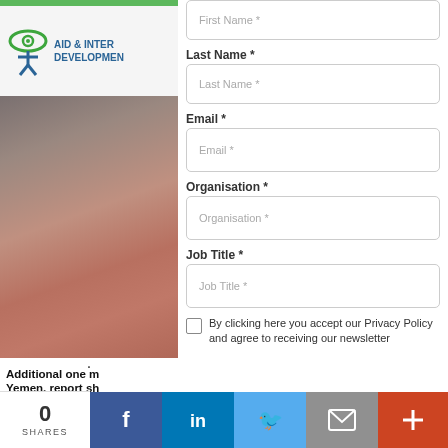[Figure (logo): Aid & International Development logo with green eye/person icon]
[Figure (photo): Blurred close-up photo, appears to show a person, pink/brown tones]
Additional one m Yemen, report sh
19 Sep 2018
Any disruption to f through Hodeidah
First Name *
Last Name *
Email *
Organisation *
Job Title *
By clicking here you accept our Privacy Policy and agree to receiving our newsletter
By clicking submit you are consenting to our privacy policy and terms of use.
0 SHARES